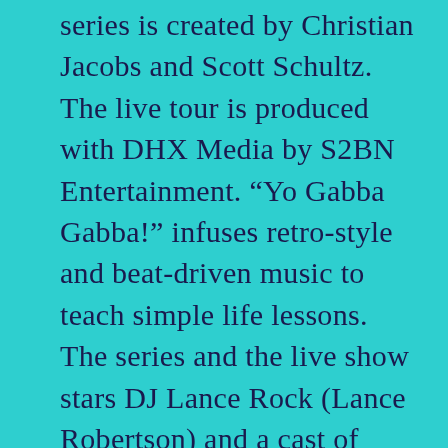series is created by Christian Jacobs and Scott Schultz. The live tour is produced with DHX Media by S2BN Entertainment. “Yo Gabba Gabba!” infuses retro-style and beat-driven music to teach simple life lessons. The series and the live show stars DJ Lance Rock (Lance Robertson) and a cast of colorful characters, including: Brobee, the little green one, Foofa, the pink flower bubble, Muno, the red Cyclops, Toodee, the blue cat-dragon and Plex, the yellow robot. Today’s most popular names in movies, television, music and sports flock to the